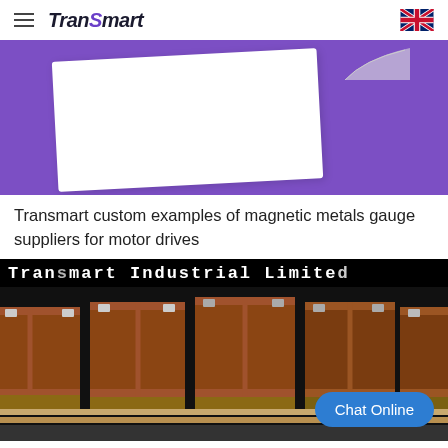Transmart
[Figure (illustration): Purple hero banner with white tilted card and paper curl decoration]
Transmart custom examples of magnetic metals gauge suppliers for motor drives
[Figure (photo): Transmart Industrial Limited - wooden shipping crates/boxes on pallets against black background, with Chat Online button overlay]